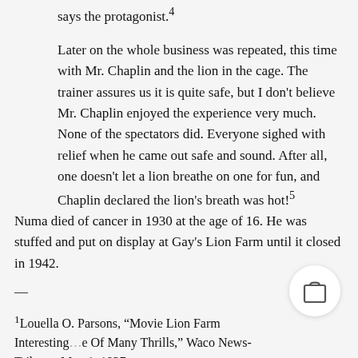says the protagonist.⁴
Later on the whole business was repeated, this time with Mr. Chaplin and the lion in the cage. The trainer assures us it is quite safe, but I don't believe Mr. Chaplin enjoyed the experience very much. None of the spectators did. Everyone sighed with relief when he came out safe and sound. After all, one doesn't let a lion breathe on one for fun, and Chaplin declared the lion's breath was hot!⁵
Numa died of cancer in 1930 at the age of 16. He was stuffed and put on display at Gay's Lion Farm until it closed in 1942.
—
¹Louella O. Parsons, "Movie Lion Farm Interesting…e Of Many Thrills," Waco News-Tribune, May 1, 1927